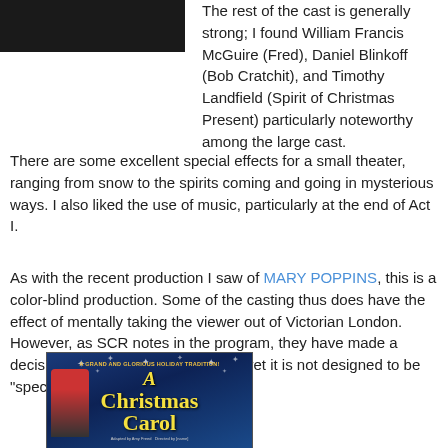[Figure (photo): Dark rectangular image at top left, appears to be a cropped photo]
The rest of the cast is generally strong; I found William Francis McGuire (Fred), Daniel Blinkoff (Bob Cratchit), and Timothy Landfield (Spirit of Christmas Present) particularly noteworthy among the large cast.
There are some excellent special effects for a small theater, ranging from snow to the spirits coming and going in mysterious ways. I also liked the use of music, particularly at the end of Act I.
As with the recent production I saw of MARY POPPINS, this is a color-blind production. Some of the casting thus does have the effect of mentally taking the viewer out of Victorian London. However, as SCR notes in the program, they have made a decision to set the story in London, yet it is not designed to be "specifically British or realistic."
[Figure (photo): Poster for A Christmas Carol showing blue background with snowflakes, yellow title text reading 'A Christmas Carol', a figure on the left side, and small text at top and bottom]